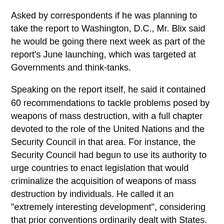Asked by correspondents if he was planning to take the report to Washington, D.C., Mr. Blix said he would be going there next week as part of the report's June launching, which was targeted at Governments and think-tanks.
Speaking on the report itself, he said it contained 60 recommendations to tackle problems posed by weapons of mass destruction, with a full chapter devoted to the role of the United Nations and the Security Council in that area. For instance, the Security Council had begun to use its authority to urge countries to enact legislation that would criminalize the acquisition of weapons of mass destruction by individuals. He called it an "extremely interesting development", considering that prior conventions ordinarily dealt with States.
Among the Commission's recommendations was that another world summit be held to make up for the "failure" of the 2005 World Summit to address the question of disarmament, non-proliferation and arms control. Stringent Cold War-era rules governing the United Nations Conference of Disarmament in Geneva -- the world's main forum for negotiations on disarmament -- should be modified so that the items